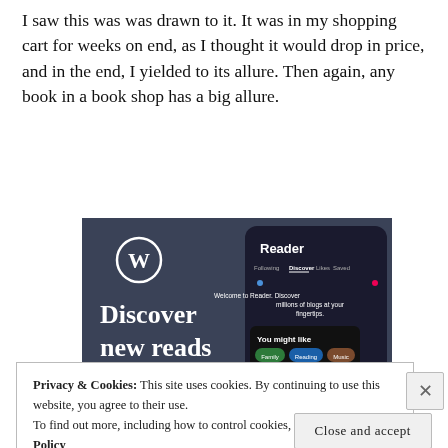I saw this was was drawn to it. It was in my shopping cart for weeks on end, as I thought it would drop in price, and in the end, I yielded to its allure. Then again, any book in a book shop has a big allure.
[Figure (screenshot): WordPress Reader advertisement. Dark background with WordPress logo (W in circle). Text reads 'Discover new reads on the go.' on left side. Right side shows a smartphone screenshot of the Reader app interface with 'Reader' heading, Following/Discover/Likes/Saved tabs, 'Welcome to Reader. Discover millions of blogs at your fingertips.' text, 'You might like' section with colored pill tags (Family, Reading, Music), and 'Around the World with Pam' blog listing.]
Privacy & Cookies: This site uses cookies. By continuing to use this website, you agree to their use.
To find out more, including how to control cookies, see here: Cookie Policy